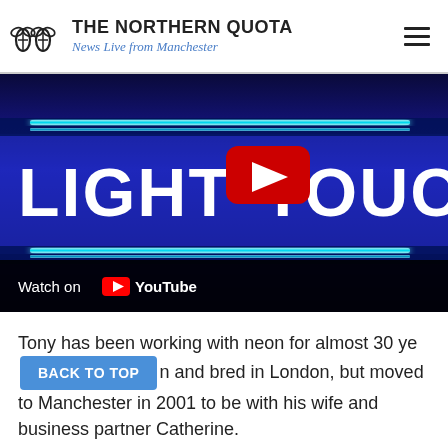THE NORTHERN QUOTA - News Live from Manchester
[Figure (screenshot): YouTube video thumbnail showing neon lights spelling 'LIGHT TOUCH' on a blue background with a YouTube play button overlay. Bottom bar reads 'Watch on YouTube'.]
Tony has been working with neon for almost 30 years. Born and bred in London, but moved to Manchester in 2001 to be with his wife and business partner Catherine.